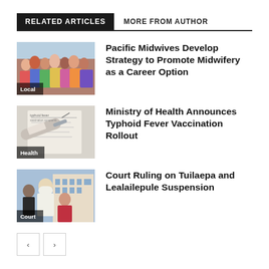RELATED ARTICLES
MORE FROM AUTHOR
[Figure (photo): Group photo of Pacific midwives, labeled Local]
Pacific Midwives Develop Strategy to Promote Midwifery as a Career Option
[Figure (photo): Medical syringe and documents related to typhoid fever, labeled Health]
Ministry of Health Announces Typhoid Fever Vaccination Rollout
[Figure (photo): Court scene with Tuilaepa and Lealailepule, labeled Court]
Court Ruling on Tuilaepa and Lealailepule Suspension